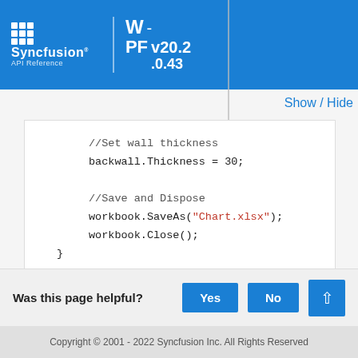Syncfusion API Reference | WPF - v20.2.0.43
Show / Hide
[Figure (screenshot): Code block showing C# code snippet: //Set wall thickness, backwall.Thickness = 30;, //Save and Dispose, workbook.SaveAs("Chart.xlsx");, workbook.Close();, }]
Was this page helpful? Yes No
Copyright © 2001 - 2022 Syncfusion Inc. All Rights Reserved